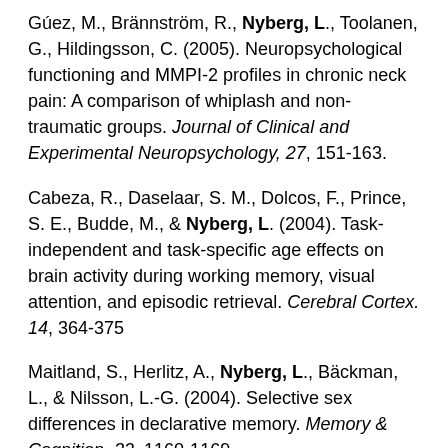Gúez, M., Brännström, R., Nyberg, L., Toolanen, G., Hildingsson, C. (2005). Neuropsychological functioning and MMPI-2 profiles in chronic neck pain: A comparison of whiplash and non-traumatic groups. Journal of Clinical and Experimental Neuropsychology, 27, 151-163.
Cabeza, R., Daselaar, S. M., Dolcos, F., Prince, S. E., Budde, M., & Nyberg, L. (2004). Task-independent and task-specific age effects on brain activity during working memory, visual attention, and episodic retrieval. Cerebral Cortex. 14, 364-375
Maitland, S., Herlitz, A., Nyberg, L., Bäckman, L., & Nilsson, L.-G. (2004). Selective sex differences in declarative memory. Memory & Cognition, 32, 1160-1169.
Lövdén, M., Rönnlund, M., Wahlin, Å., Bäckman, L., Nyberg, L., & Nilsson, L.-G. (2004). Stability and Change...